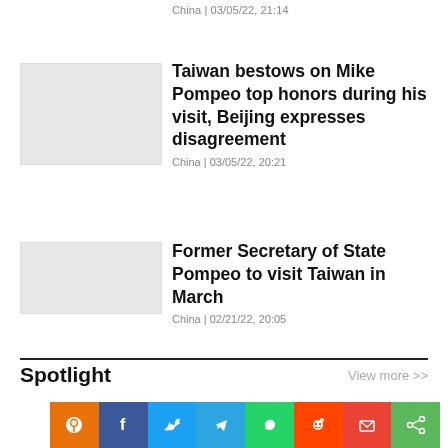China | 03/05/22, 21:14
Taiwan bestows on Mike Pompeo top honors during his visit, Beijing expresses disagreement
China | 03/05/22, 20:21
Former Secretary of State Pompeo to visit Taiwan in March
China | 02/21/22, 20:05
Spotlight
View more >>